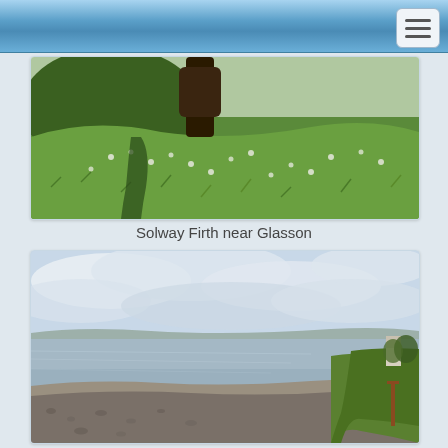[Figure (photo): Photograph of a grassy marsh/meadow with wildflowers (likely cotton grass), tree trunk visible at top, green hilly terrain]
Solway Firth near Glasson
[Figure (photo): Photograph of a coastal estuary scene at the Solway Firth - shallow water, pebbly shore, green grassy bank, cloudy sky with hills in background]